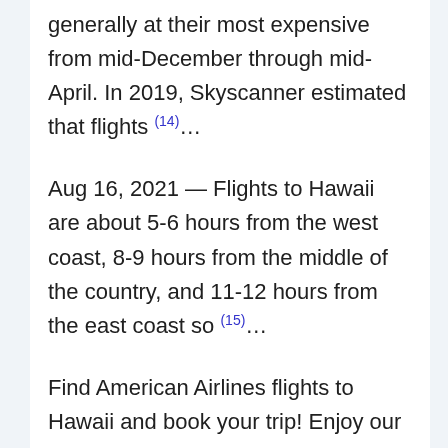generally at their most expensive from mid-December through mid-April. In 2019, Skyscanner estimated that flights (14)...
Aug 16, 2021 — Flights to Hawaii are about 5-6 hours from the west coast, 8-9 hours from the middle of the country, and 11-12 hours from the east coast so (15)...
Find American Airlines flights to Hawaii and book your trip! Enjoy our (16)